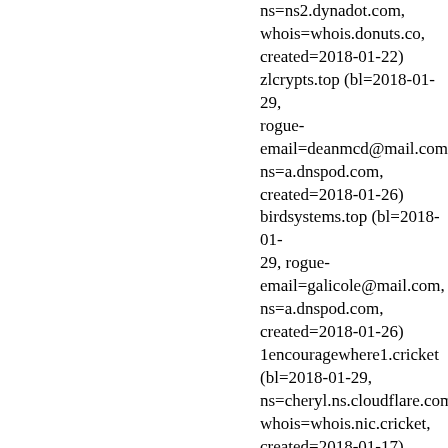ns=ns2.dynadot.com, whois=whois.donuts.co, created=2018-01-22) zlcrypts.top (bl=2018-01-29, rogue-email=deanmcd@mail.com, ns=a.dnspod.com, created=2018-01-26) birdsystems.top (bl=2018-01-29, rogue-email=galicole@mail.com, ns=a.dnspod.com, created=2018-01-26) 1encouragewhere1.cricket (bl=2018-01-29, ns=cheryl.ns.cloudflare.com, whois=whois.nic.cricket, created=2018-01-17)
Recent additions (last 30 days)
Archive: 2018-04: 01 02 03 04 05 06 07 10 11 12 13 14 15 16 17 18 19 22 23 24 25 26 27 28 29 30 2018-03: 01 02 03 04 05 06 07 10 11 12 13 14 15 16 17 18 19